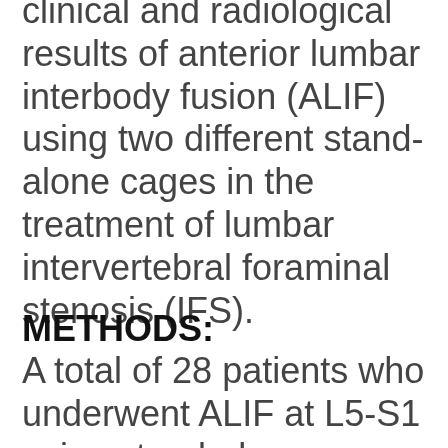clinical and radiological results of anterior lumbar interbody fusion (ALIF) using two different stand-alone cages in the treatment of lumbar intervertebral foraminal stenosis (IFS).
METHODS:
A total of 28 patients who underwent ALIF at L5-S1 using stand-alone cage were studied [Stabilis(R) (Stryker,